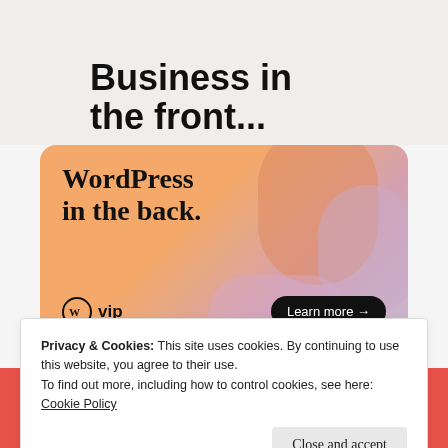Business in the front...
[Figure (illustration): WordPress VIP advertisement banner with gradient orange-pink-purple background, blobs, 'WordPress in the back.' text, WP VIP logo, and 'Learn more' button]
REPORT THIS AD
Privacy & Cookies: This site uses cookies. By continuing to use this website, you agree to their use.
To find out more, including how to control cookies, see here: Cookie Policy
Close and accept